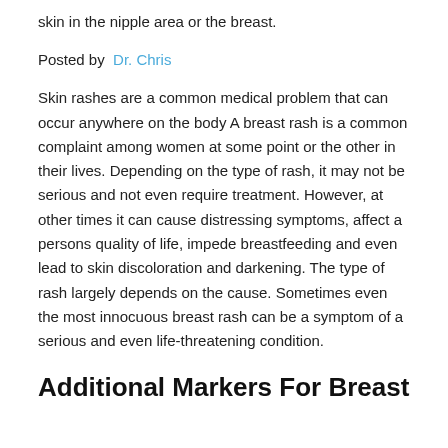skin in the nipple area or the breast.
Posted by Dr. Chris
Skin rashes are a common medical problem that can occur anywhere on the body A breast rash is a common complaint among women at some point or the other in their lives. Depending on the type of rash, it may not be serious and not even require treatment. However, at other times it can cause distressing symptoms, affect a persons quality of life, impede breastfeeding and even lead to skin discoloration and darkening. The type of rash largely depends on the cause. Sometimes even the most innocuous breast rash can be a symptom of a serious and even life-threatening condition.
Additional Markers For Breast